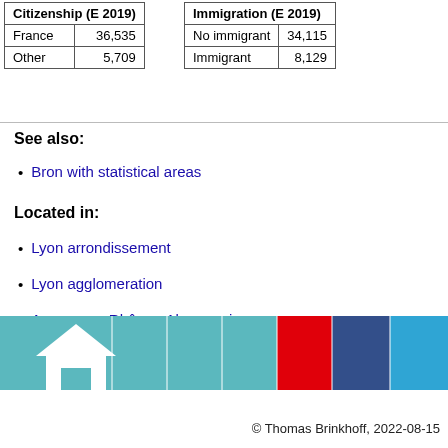| Citizenship (E 2019) |  |
| --- | --- |
| France | 36,535 |
| Other | 5,709 |
| Immigration (E 2019) |  |
| --- | --- |
| No immigrant | 34,115 |
| Immigrant | 8,129 |
See also:
Bron with statistical areas
Located in:
Lyon arrondissement
Lyon agglomeration
Auvergne - Rhône - Alpes region
Rhône department
[Figure (infographic): Navigation footer bar with colored segments (teal, red, navy, light blue) and a home icon on the left]
© Thomas Brinkhoff, 2022-08-15